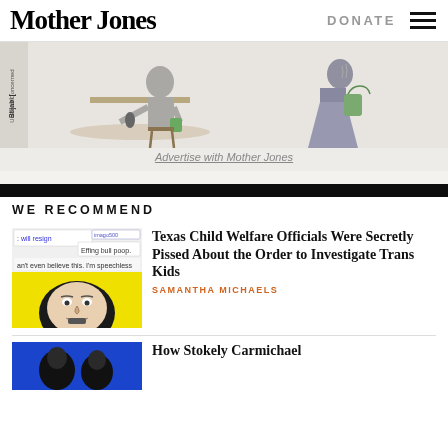Mother Jones
DONATE
[Figure (illustration): Advertisement illustration showing two figures in a cartoon style - one person at a desk with a green cup, another standing with a bag. Union of Concerned Scientists branding visible.]
Advertise with Mother Jones
WE RECOMMEND
[Figure (screenshot): Thumbnail for Texas article: screenshot of text messages saying 'will resign' and 'Effing bull poop.' and 'can't even believe this. I'm speechless', with a black and white photo of a man's face on yellow background.]
Texas Child Welfare Officials Were Secretly Pissed About the Order to Investigate Trans Kids
SAMANTHA MICHAELS
[Figure (photo): Thumbnail for Stokely Carmichael article showing a blue and dark photo]
How Stokely Carmichael